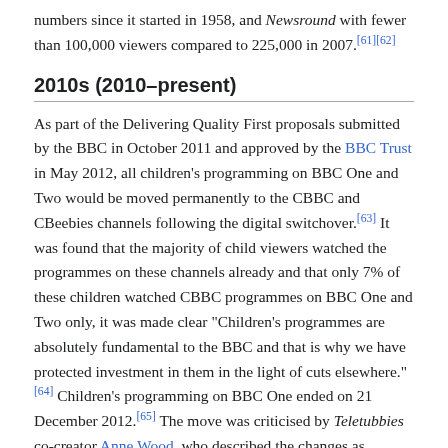numbers since it started in 1958, and Newsround with fewer than 100,000 viewers compared to 225,000 in 2007.[61][62]
2010s (2010–present)
As part of the Delivering Quality First proposals submitted by the BBC in October 2011 and approved by the BBC Trust in May 2012, all children's programming on BBC One and Two would be moved permanently to the CBBC and CBeebies channels following the digital switchover.[63] It was found that the majority of child viewers watched the programmes on these channels already and that only 7% of these children watched CBBC programmes on BBC One and Two only, it was made clear "Children's programmes are absolutely fundamental to the BBC and that is why we have protected investment in them in the light of cuts elsewhere."[64] Children's programming on BBC One ended on 21 December 2012.[65] The move was criticised by Teletubbies co-creator Anne Wood, who described the changes as "ghettoising children's programmes" and believe it was merely a cost-cutting measure. Wood said "On the one hand it is inevitable. But it is dismissive of children. There is a certain amount of overlooking of the fact that children's